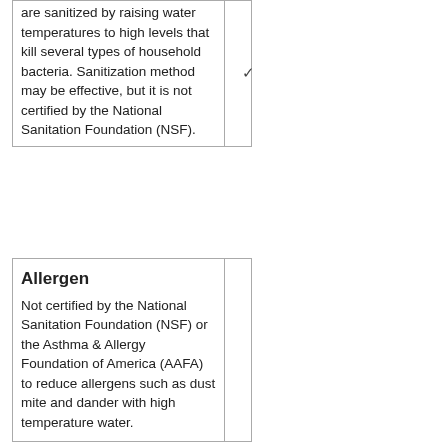| Description | Check |
| --- | --- |
| are sanitized by raising water temperatures to high levels that kill several types of household bacteria. Sanitization method may be effective, but it is not certified by the National Sanitation Foundation (NSF). | ✓ |
| Description | Check |
| --- | --- |
| Allergen
Not certified by the National Sanitation Foundation (NSF) or the Asthma & Allergy Foundation of America (AAFA) to reduce allergens such as dust mite and dander with high temperature water. |  |